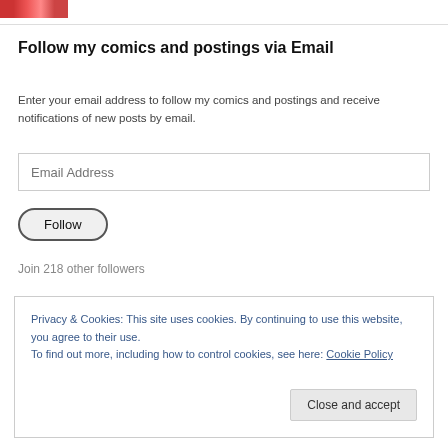[Figure (photo): Small cropped image in top-left corner, appears to show colorful comic artwork]
Follow my comics and postings via Email
Enter your email address to follow my comics and postings and receive notifications of new posts by email.
Email Address (input field)
Follow (button)
Join 218 other followers
Privacy & Cookies: This site uses cookies. By continuing to use this website, you agree to their use.
To find out more, including how to control cookies, see here: Cookie Policy
Close and accept